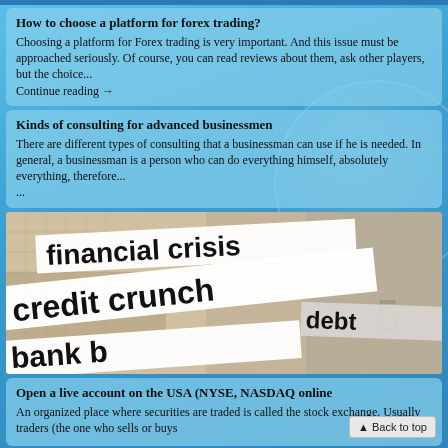How to choose a platform for forex trading?
Choosing a platform for Forex trading is very important. And this issue must be approached seriously. Of course, you can read reviews about them, ask other players, but the choice...
Continue reading →
Kinds of consulting for advanced businessmen
There are different types of consulting that a businessman can use if he is needed. In general, a businessman is a person who can do everything himself, absolutely everything, therefore...
...
[Figure (photo): Newspaper clippings showing financial crisis headlines: 'financial crisis', 'credit crunch', 'debt', 'bank b...']
Open a live account on the USA (NYSE, NASDAQ online
An organized place where securities are traded is called the stock exchange. Usually traders (the one who sells or buys